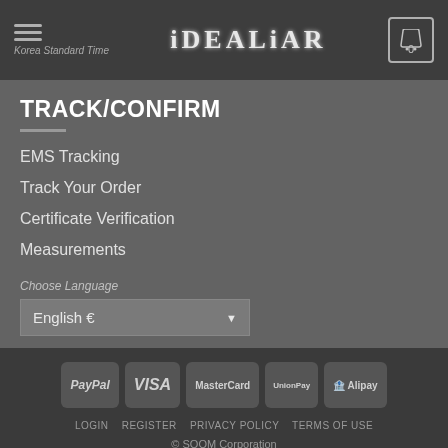IDEALIAN — Korea Standard Time — Cart: 0
TRACK/CONFIRM
EMS Tracking
Track Your Order
Certificate Verification
Measurements
Choose Language
English €
[Figure (other): Payment method icons: PayPal, VISA, MasterCard, UnionPay, Alipay]
LOGIN  REGISTER  PRIVACY POLICY  TERMS OF USE
© SOOM Corporation